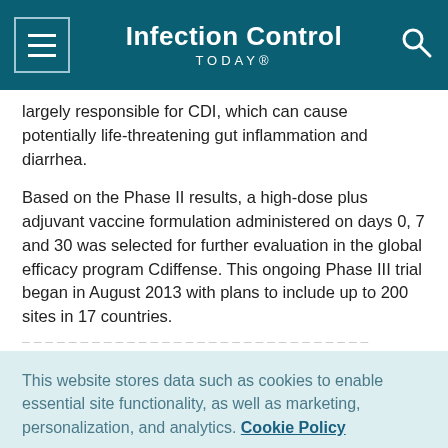Infection Control TODAY®
largely responsible for CDI, which can cause potentially life-threatening gut inflammation and diarrhea.
Based on the Phase II results, a high-dose plus adjuvant vaccine formulation administered on days 0, 7 and 30 was selected for further evaluation in the global efficacy program Cdiffense. This ongoing Phase III trial began in August 2013 with plans to include up to 200 sites in 17 countries.
This website stores data such as cookies to enable essential site functionality, as well as marketing, personalization, and analytics. Cookie Policy
Accept
Deny